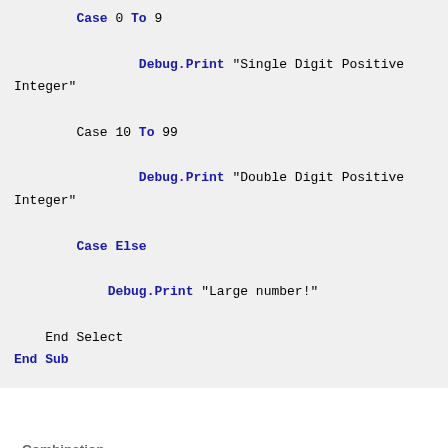Case 0 To 9
    Debug.Print "Single Digit Positive Integer"
    Case 10 To 99
        Debug.Print "Double Digit Positive Integer"
    Case Else
        Debug.Print "Large number!"
End Select
End Sub
Combination
Multiple expressions can be used in a single CASE statement for optimum efficiency.  Another example: